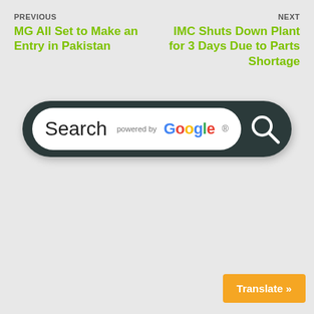PREVIOUS
MG All Set to Make an Entry in Pakistan
NEXT
IMC Shuts Down Plant for 3 Days Due to Parts Shortage
[Figure (screenshot): Search bar widget with text 'Search powered by Google' and a magnifying glass icon on dark teal rounded background]
Translate »